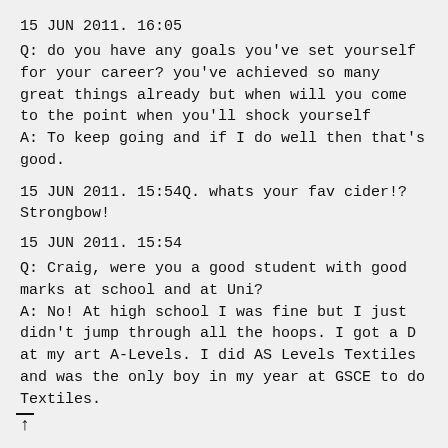15 JUN 2011. 16:05
Q: do you have any goals you've set yourself for your career? you've achieved so many great things already but when will you come to the point when you'll shock yourself
A: To keep going and if I do well then that's good.
15 JUN 2011. 15:54Q. whats your fav cider!? Strongbow!
15 JUN 2011. 15:54
Q: Craig, were you a good student with good marks at school and at Uni?
A: No! At high school I was fine but I just didn't jump through all the hoops. I got a D at my art A-Levels. I did AS Levels Textiles and was the only boy in my year at GSCE to do Textiles.